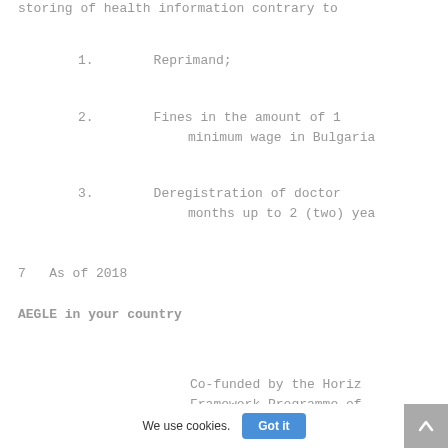storing of health information contrary to
1.    Reprimand;
2.    Fines in the amount of 1 minimum wage in Bulgaria
3.    Deregistration of doctor months up to 2 (two) yea
7   As of 2018
AEGLE in your country
Co-funded by the Horiz
Framework Programme of